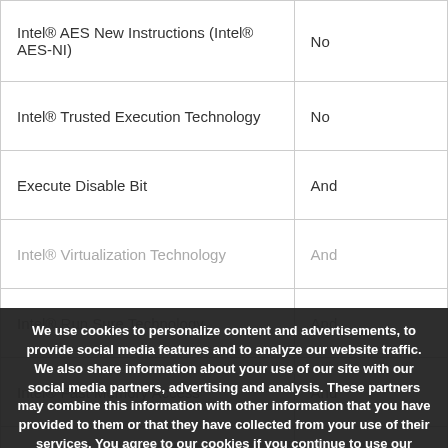| Feature | Value |
| --- | --- |
| Intel® AES New Instructions (Intel® AES-NI) | No |
| Intel® Trusted Execution Technology | No |
| Execute Disable Bit | And |
| Intel® Virtualization Technology | And |
| Intel® Run Sure Technology | And |
| Intel® Fast Memory Access | And |
| Intel® Enhanced Halt State | And |
| Intel® 64 | And |
| Supported instruction sets | SSE4.1 SSE4.2 |
We use cookies to personalize content and advertisements, to provide social media features and to analyze our website traffic. We also share information about your use of our site with our social media partners, advertising and analysis. These partners may combine this information with other information that you have provided to them or that they have collected from your use of their services. You agree to our cookies if you continue to use our website. More information and the possibility to change your consent can be found in our Privacy Policy.